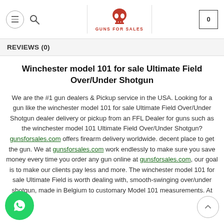GUNS FOR SALES - navigation header with hamburger menu, search icon, logo, and cart (0)
REVIEWS (0)
Winchester model 101 for sale Ultimate Field Over/Under Shotgun
We are the #1 gun dealers & Pickup service in the USA. Looking for a gun like the winchester model 101 for sale Ultimate Field Over/Under Shotgun dealer delivery or pickup from an FFL Dealer for guns such as the winchester model 101 Ultimate Field Over/Under Shotgun? gunsforsales.com offers firearm delivery worldwide. decent place to get the gun. We at gunsforsales.com work endlessly to make sure you save money every time you order any gun online at gunsforsales.com, our goal is to make our clients pay less and more. The winchester model 101 for sale Ultimate Field is worth dealing with, smooth-swinging over/under shotgun, made in Belgium to customary Model 101 measurements. At